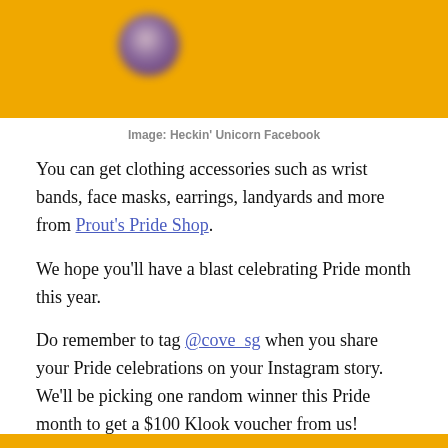[Figure (photo): Partial photo of a purple orb/ball on a yellow/orange background, cropped at top of page]
Image: Heckin' Unicorn Facebook
You can get clothing accessories such as wrist bands, face masks, earrings, landyards and more from Prout's Pride Shop.
We hope you'll have a blast celebrating Pride month this year.
Do remember to tag @cove_sg when you share your Pride celebrations on your Instagram story. We'll be picking one random winner this Pride month to get a $100 Klook voucher from us!